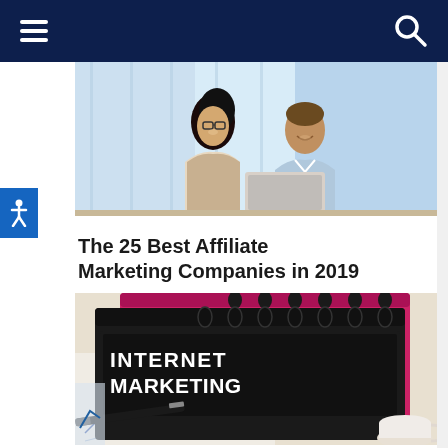Navigation bar with hamburger menu and search icon
[Figure (photo): Two professionals (a woman with glasses and dark curly hair, and a man) smiling and looking at a laptop in an office setting]
The 25 Best Affiliate Marketing Companies in 2019
[Figure (photo): Close-up of a black binder labeled 'INTERNET MARKETING' sitting on a desk with charts, a pen, and a coffee cup in the background. Pink/magenta binder visible behind it.]